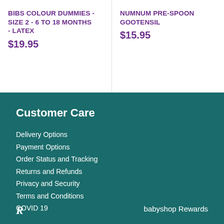BIBS COLOUR DUMMIES - SIZE 2 - 6 TO 18 MONTHS - LATEX
$19.95
NUMNUM PRE-SPOON GOOTENSIL
$15.95
Customer Care
Delivery Options
Payment Options
Order Status and Tracking
Returns and Refunds
Privacy and Security
Terms and Conditions
COVID 19
babyshop Rewards